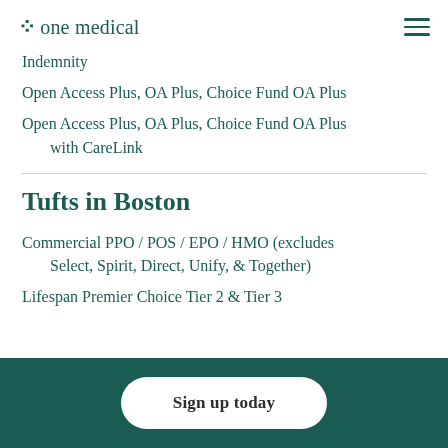one medical
Indemnity
Open Access Plus, OA Plus, Choice Fund OA Plus
Open Access Plus, OA Plus, Choice Fund OA Plus with CareLink
Tufts in Boston
Commercial PPO / POS / EPO / HMO (excludes Select, Spirit, Direct, Unify, & Together)
Lifespan Premier Choice Tier 2 & Tier 3
Sign up today